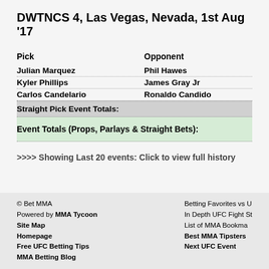DWTNCS 4, Las Vegas, Nevada, 1st Aug '17
| Pick | Opponent |
| --- | --- |
| Julian Marquez | Phil Hawes |
| Kyler Phillips | James Gray Jr |
| Carlos Candelario | Ronaldo Candido |
| Straight Pick Event Totals: |  |
| Event Totals (Props, Parlays & Straight Bets): |  |
>>>> Showing Last 20 events: Click to view full history
© Bet MMA
Powered by MMA Tycoon
Site Map
Homepage
Free UFC Betting Tips
MMA Betting Blog
Betting Favorites vs U...
In Depth UFC Fight St...
List of MMA Bookma...
Best MMA Tipsters
Next UFC Event